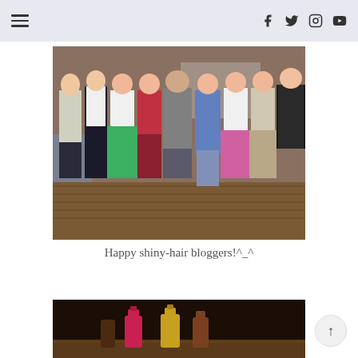Navigation header with hamburger menu and social icons (Facebook, Twitter, Instagram, YouTube)
[Figure (photo): Group photo of eight young women and one man standing together in what appears to be a hair salon. Women are dressed in colorful outfits including green maxi dress, red top, denim jacket, pink skirt, and black blazer. Wooden floor visible.]
Happy shiny-hair bloggers!^_^
[Figure (photo): Dark background photo showing hair care product bottles/containers in pink, red, and golden/yellow colors arranged on a dark surface.]